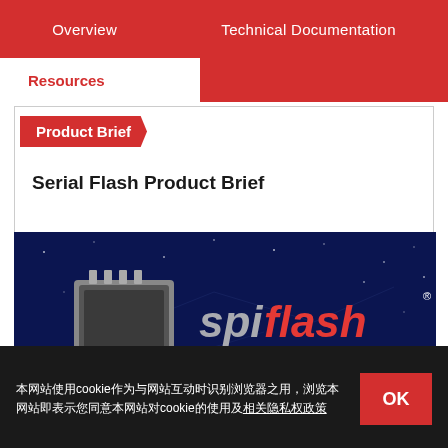Overview    Technical Documentation
Resources
Product Brief
Serial Flash Product Brief
[Figure (photo): Winbond SpiFlash Serial Flash Memories product image showing a chip against a blue starry background with 'spiflash Serial Flash Memories' text in red and white]
本网站使用cookie作为与网站互动时识别浏览器之用，浏览本网站即表示您同意本网站对cookie的使用及相关隐私权政策